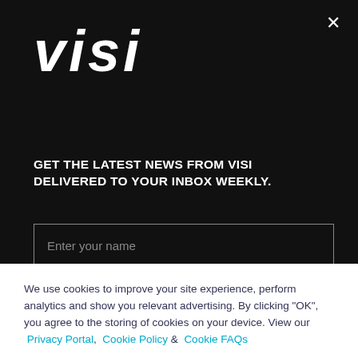[Figure (logo): Visi logo in white italic bold text on black background]
GET THE LATEST NEWS FROM VISI DELIVERED TO YOUR INBOX WEEKLY.
Enter your name
Enter your email address
We use cookies to improve your site experience, perform analytics and show you relevant advertising. By clicking "OK", you agree to the storing of cookies on your device. View our Privacy Portal, Cookie Policy & Cookie FAQs